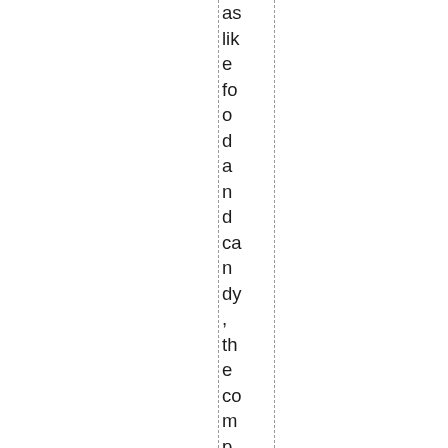as like food and candy, the company has made itself very